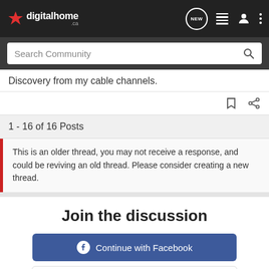digitalhome.ca
Search Community
Discovery from my cable channels.
1 - 16 of 16 Posts
This is an older thread, you may not receive a response, and could be reviving an old thread. Please consider creating a new thread.
Join the discussion
Continue with Facebook
Continue with Google